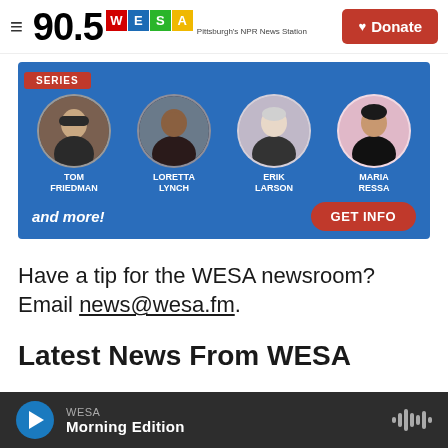90.5 WESA Pittsburgh's NPR News Station | Donate
[Figure (infographic): Promotional ad banner for events featuring Tom Friedman, Loretta Lynch, Erik Larson, Maria Ressa with 'and more!' text and 'GET INFO' button on blue background]
Have a tip for the WESA newsroom? Email news@wesa.fm.
Latest News From WESA
WESA Morning Edition (audio player bar)